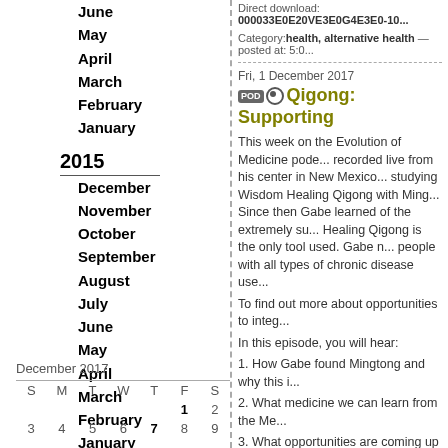June
May
April
March
February
January
2015
December
November
October
September
August
July
June
May
April
March
February
January
2014
December
November
October
September
| S | M | T | W | T | F | S |
| --- | --- | --- | --- | --- | --- | --- |
|  |  |  |  |  | 1 | 2 |
| 3 | 4 | 5 | 6 | 7 | 8 | 9 |
Direct download: 000033E0E20VE3E0G4E3E0-10...
Category: health, alternative health — posted at: 5:0...
Fri, 1 December 2017
Qigong: Supporting...
This week on the Evolution of Medicine pode... recorded live from his center in New Mexico... studying Wisdom Healing Qigong with Ming... Since then Gabe learned of the extremely su... Healing Qigong is the only tool used. Gabe n... people with all types of chronic disease use...
To find out more about opportunities to integ...
In this episode, you will hear:
1. How Gabe found Mingtong and why this i...
2. What medicine we can learn from the Me...
3. What opportunities are coming up where y... medical practice.
Direct download: -Podcast_from_EvoMed_--_Maste...
Category: health, alternative health — posted at: 5:0...